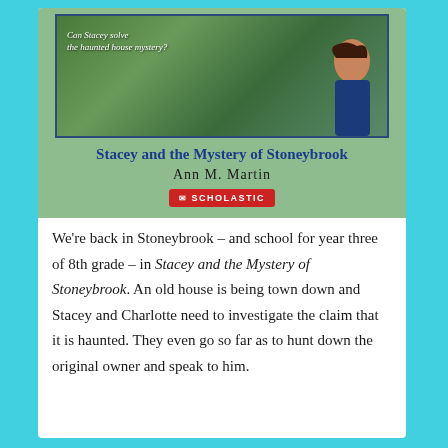[Figure (illustration): Book cover of 'Stacey and the Mystery of Stoneybrook' by Ann M. Martin, published by Scholastic. Cover shows a girl against a green garden/house background with tagline 'Can Stacey solve the haunted house mystery?']
We're back in Stoneybrook – and school for year three of 8th grade – in Stacey and the Mystery of Stoneybrook. An old house is being town down and Stacey and Charlotte need to investigate the claim that it is haunted. They even go so far as to hunt down the original owner and speak to him.